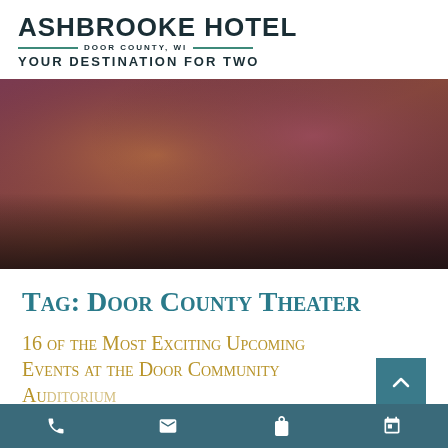[Figure (logo): Ashbrooke Hotel logo with text 'Door County, WI' and tagline 'Your Destination for Two']
[Figure (photo): Abstract blurred background image with warm purple, mauve, and amber tones fading to dark at the bottom]
Tag: Door County Theater
16 of the Most Exciting Upcoming Events at the Door Community Auditorium
Navigation bar with call, email, gift, and calendar icons